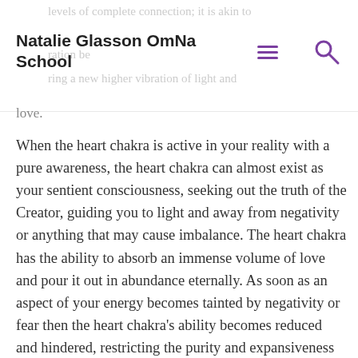Natalie Glasson OmNa School
levels of complete connection; it is akin to bringing a new higher vibration of light and love.
When the heart chakra is active in your reality with a pure awareness, the heart chakra can almost exist as your sentient consciousness, seeking out the truth of the Creator, guiding you to light and away from negativity or anything that may cause imbalance. The heart chakra has the ability to absorb an immense volume of love and pour it out in abundance eternally. As soon as an aspect of your energy becomes tainted by negativity or fear then the heart chakra’s ability becomes reduced and hindered, restricting the purity and expansiveness of the heart chakra and your divine connection to the Creator.